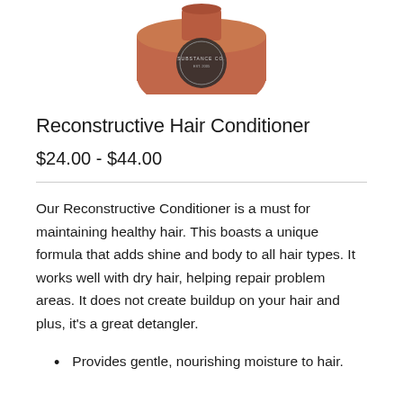[Figure (photo): Partial view of a terracotta/brown hair conditioner bottle with a dark circular logo/seal, cropped at the top of the page showing only the upper portion of the bottle.]
Reconstructive Hair Conditioner
$24.00 - $44.00
Our Reconstructive Conditioner is a must for maintaining healthy hair. This boasts a unique formula that adds shine and body to all hair types. It works well with dry hair, helping repair problem areas. It does not create buildup on your hair and plus, it's a great detangler.
Provides gentle, nourishing moisture to hair.